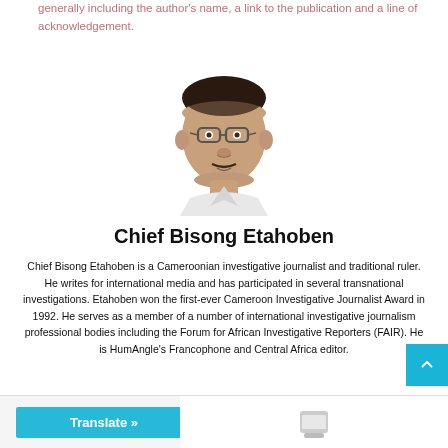generally including the author's name, a link to the publication and a line of acknowledgement.
[Figure (illustration): Illustrated portrait of Chief Bisong Etahoben, a Cameroonian man wearing glasses]
Chief Bisong Etahoben
Chief Bisong Etahoben is a Cameroonian investigative journalist and traditional ruler. He writes for international media and has participated in several transnational investigations. Etahoben won the first-ever Cameroon Investigative Journalist Award in 1992. He serves as a member of a number of international investigative journalism professional bodies including the Forum for African Investigative Reporters (FAIR). He is HumAngle's Francophone and Central Africa editor.
Translate »